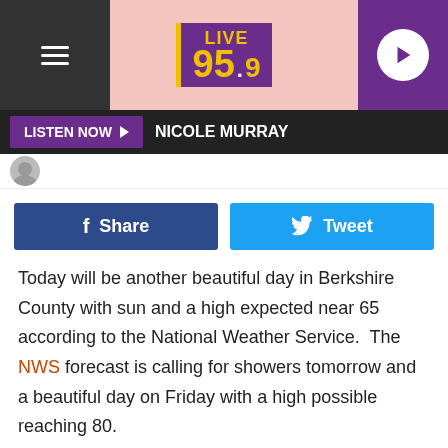[Figure (screenshot): Live 95.9 radio station website header banner with purple background, pink decorative center, hamburger menu on left, Live 95.9 logo in center, play button on right]
LISTEN NOW  NICOLE MURRAY
[Figure (infographic): Social sharing buttons row: Facebook Share button (dark blue) and Twitter Tweet button (light blue)]
Today will be another beautiful day in Berkshire County with sun and a high expected near 65 according to the National Weather Service.  The NWS forecast is calling for showers tomorrow and a beautiful day on Friday with a high possible reaching 80.
Over the weekend the Northeast really starts heating up.  Thanks to the elevation of the Berkshires Saturday's high will be in the 90s but just down the Mass Pike in Springfield could reach 100 degrees.  Temps will come down on Sunday and seasonal conditions are expected to begin the new